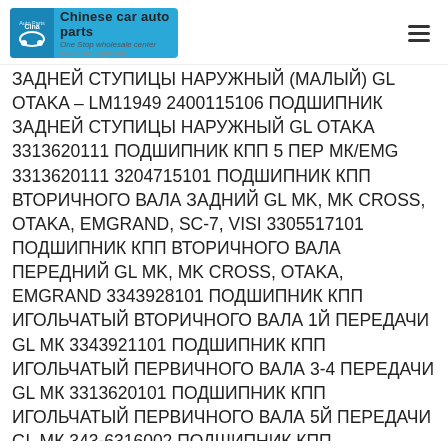Chinese car auto parts — One Stop wholesale center
ЗАДНЕЙ СТУПИЦЫ НАРУЖНЫЙ (МАЛЫЙ) GL OTAKA – LM11949 2400115106 ПОДШИПНИК ЗАДНЕЙ СТУПИЦЫ НАРУЖНЫЙ GL OTAKA 3313620111 ПОДШИПНИК КПП 5 ПЕР МК/EMG 3313620111 3204715101 ПОДШИПНИК КПП ВТОРИЧНОГО ВАЛА ЗАДНИЙ GL MK, MK CROSS, OTAKA, EMGRAND, SC-7, VISI 3305517101 ПОДШИПНИК КПП ВТОРИЧНОГО ВАЛА ПЕРЕДНИЙ GL MK, MK CROSS, OTAKA, EMGRAND 3343928101 ПОДШИПНИК КПП ИГОЛЬЧАТЫЙ ВТОРИЧНОГО ВАЛА 1Й ПЕРЕДАЧИ GL МК 3343921101 ПОДШИПНИК КПП ИГОЛЬЧАТЫЙ ПЕРВИЧНОГО ВАЛА 3-4 ПЕРЕДАЧИ GL МК 3313620101 ПОДШИПНИК КПП ИГОЛЬЧАТЫЙ ПЕРВИЧНОГО ВАЛА 5Й ПЕРЕДАЧИ GL МК 343-6316002 ПОДШИПНИК КПП ПЕРВИЧНОГО ВАЛА ПЕРЕДНИЙ, ЗАДНИЙ GL МК, OTAKA, EMGRAND 1064001701 ПОДШИПНИК ПЕРЕДНЕЙ СТУПИЦЫ GL EMGRAND 1014003273 ПОДШИПНИК